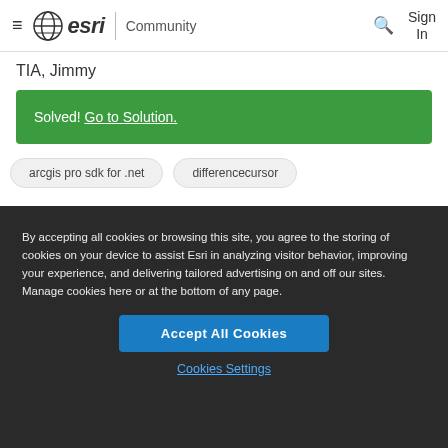Esri Community — Sign In
TIA, Jimmy
Solved! Go to Solution.
arcgis pro sdk for .net
differencecursor
By accepting all cookies or browsing this site, you agree to the storing of cookies on your device to assist Esri in analyzing visitor behavior, improving your experience, and delivering tailored advertising on and off our sites. Manage cookies here or at the bottom of any page.
Accept All Cookies
Cookies Settings